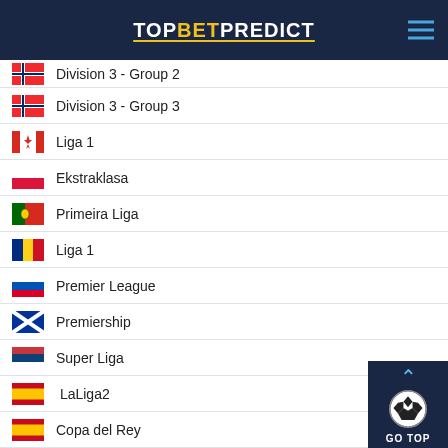TOPBETPREDICT
Division 3 - Group 2
Division 3 - Group 3
Liga 1
Ekstraklasa
Primeira Liga
Liga 1
Premier League
Premiership
Super Liga
LaLiga2
Copa del Rey
Allsvenskan
Division 1 - Norra
Division 1 - Södra
Division 2 - Norra Götaland
Division 2 - Norra Svealand